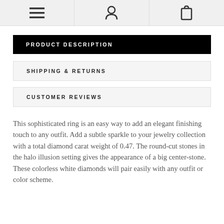[menu icon] [user icon] [cart icon]
PRODUCT DESCRIPTION
SHIPPING & RETURNS
CUSTOMER REVIEWS
This sophisticated ring is an easy way to add an elegant finishing touch to any outfit. Add a subtle sparkle to your jewelry collection with a total diamond carat weight of 0.47. The round-cut stones in the halo illusion setting gives the appearance of a big center-stone. These colorless white diamonds will pair easily with any outfit or color scheme.